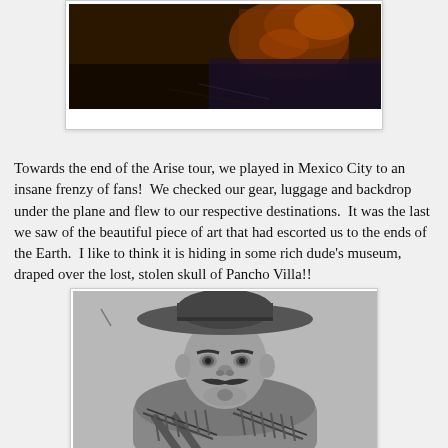[Figure (photo): Partial view of a photo (top cropped) showing a dark, brownish image of what appears to be a stage or backdrop scene with orange/reddish tones.]
Towards the end of the Arise tour, we played in Mexico City to an insane frenzy of fans!  We checked our gear, luggage and backdrop under the plane and flew to our respective destinations.  It was the last we saw of the beautiful piece of art that had escorted us to the ends of the Earth.  I like to think it is hiding in some rich dude's museum, draped over the lost, stolen skull of Pancho Villa!!
[Figure (photo): Black and white historical portrait photograph of Pancho Villa wearing a large wide-brimmed sombrero hat and bandoliers of bullets crossed across his chest, looking directly at the camera with a serious expression.]